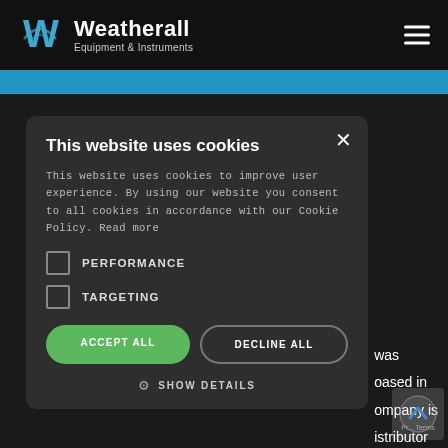[Figure (logo): Weatherall Equipment & Instruments logo with stylized W icon in blue and white]
This website uses cookies
This website uses cookies to improve user experience. By using our website you consent to all cookies in accordance with our Cookie Policy. Read more
PERFORMANCE
TARGETING
ACCEPT ALL
DECLINE ALL
SHOW DETAILS